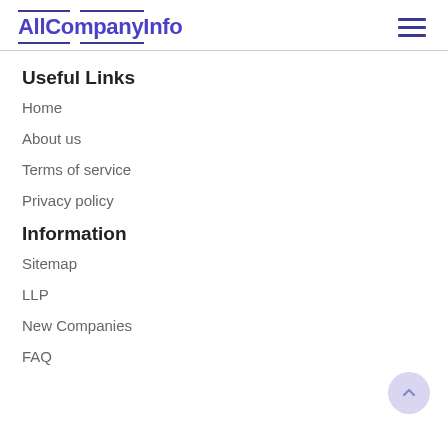AllCompanyInfo
Useful Links
Home
About us
Terms of service
Privacy policy
Information
Sitemap
LLP
New Companies
FAQ